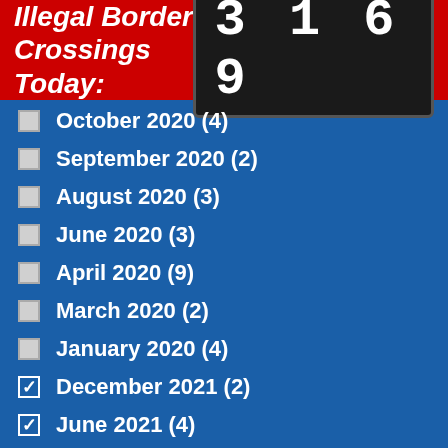Illegal Border Crossings Today: 3169
October 2020 (4)
September 2020 (2)
August 2020 (3)
June 2020 (3)
April 2020 (9)
March 2020 (2)
January 2020 (4)
December 2021 (2)
June 2021 (4)
January 2021 (1)
July 2020 (2)
May 2020 (3)
February 2020 (3)